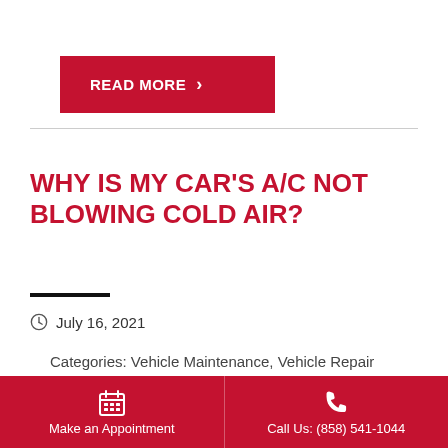READ MORE >
WHY IS MY CAR'S A/C NOT BLOWING COLD AIR?
July 16, 2021
Categories: Vehicle Maintenance, Vehicle Repair
[Figure (photo): Close-up photo of a car engine bay showing metal components, tubes and engine parts]
Make an Appointment
Call Us: (858) 541-1044